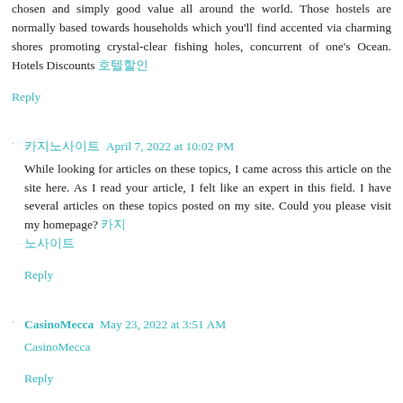chosen and simply good value all around the world. Those hostels are normally based towards households which you'll find accented via charming shores promoting crystal-clear fishing holes, concurrent of one's Ocean. Hotels Discounts 호텔할인
Reply
카지노사이트 April 7, 2022 at 10:02 PM
While looking for articles on these topics, I came across this article on the site here. As I read your article, I felt like an expert in this field. I have several articles on these topics posted on my site. Could you please visit my homepage? 카지노사이트
Reply
CasinoMecca May 23, 2022 at 3:51 AM
CasinoMecca
Reply